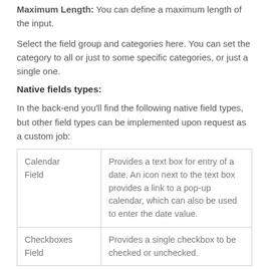Maximum Length: You can define a maximum length of the input.
Select the field group and categories here. You can set the category to all or just to some specific categories, or just a single one.
Native fields types:
In the back-end you'll find the following native field types, but other field types can be implemented upon request as a custom job:
| Field Type | Description |
| --- | --- |
| Calendar Field | Provides a text box for entry of a date. An icon next to the text box provides a link to a pop-up calendar, which can also be used to enter the date value. |
| Checkboxes Field | Provides a single checkbox to be checked or unchecked. |